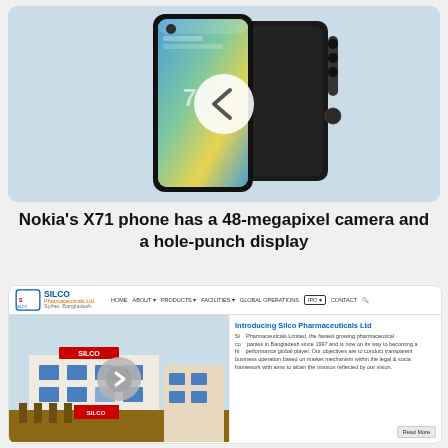[Figure (screenshot): Nokia X71 smartphone shown from front and back on a light blue background, with a left navigation arrow button overlay]
Nokia's X71 phone has a 48-megapixel camera and a hole-punch display
[Figure (screenshot): Silco Pharmaceuticals Ltd website screenshot showing navigation bar with HOME, ABOUT, PRODUCTS, FACILITIES, GLOBAL OPERATIONS, IPO, CONTACT menus, and a building photo on the left with introductory text on the right and a Read More button]